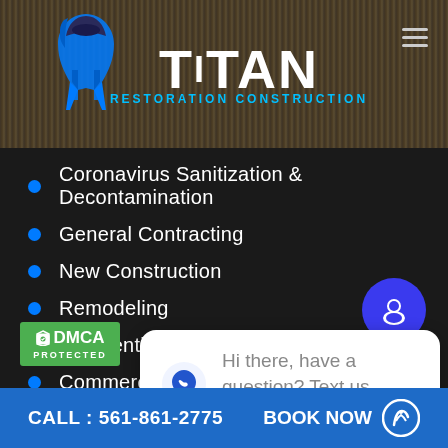[Figure (logo): Titan Restoration Construction logo with spartan helmet icon and blue text subtitle]
Coronavirus Sanitization & Decontamination
General Contracting
New Construction
Remodeling
Residential Construction
Commercial Restoration
[Figure (logo): DMCA Protected badge in green]
[Figure (screenshot): Chat widget bubble with Titan logo icon and text: Hi there, have a question? Text us here.]
Hi there, have a question? Text us here.
CALL : 561-861-2775    BOOK NOW